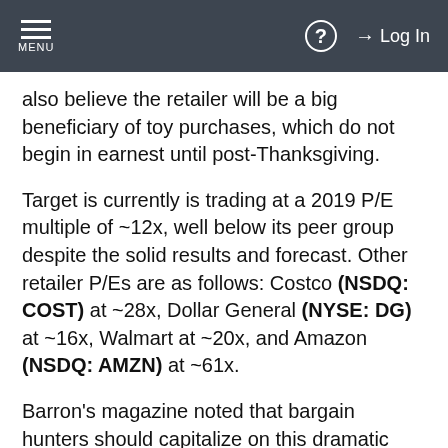MENU | ? | Log In
also believe the retailer will be a big beneficiary of toy purchases, which do not begin in earnest until post-Thanksgiving.
Target is currently is trading at a 2019 P/E multiple of ~12x, well below its peer group despite the solid results and forecast. Other retailer P/Es are as follows: Costco (NSDQ: COST) at ~28x, Dollar General (NYSE: DG) at ~16x, Walmart at ~20x, and Amazon (NSDQ: AMZN) at ~61x.
Barron's magazine noted that bargain hunters should capitalize on this dramatic price drop. Even Walmart's ex-CEO praised Target's toy positioning when on CNBC's Squawk Box.